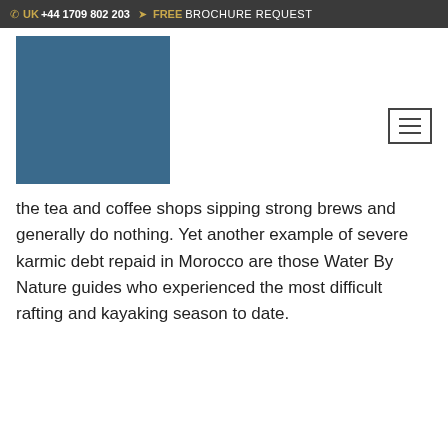UK +44 1709 802 203  FREE BROCHURE REQUEST
[Figure (logo): Blue rectangular logo block for Water By Nature]
the tea and coffee shops sipping strong brews and generally do nothing. Yet another example of severe karmic debt repaid in Morocco are those Water By Nature guides who experienced the most difficult rafting and kayaking season to date.